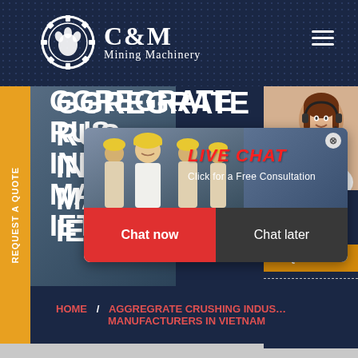[Figure (logo): C&M Mining Machinery logo with gear/claw icon on dark navy dotted background]
AGGREGRATE CRUSHING INDUSTRY MANUFACTURERS IN VIETNAM
[Figure (photo): Live chat popup overlay with construction workers photo, LIVE CHAT header in red italic, 'Click for a Free Consultation' subtitle, Chat now (red) and Chat later (dark) buttons]
[Figure (photo): Right sidebar showing woman with headset customer service photo, with Quotation and Enquiry buttons and drobilkalm@gmail.com email]
REQUEST A QUOTE
ave any requests, ick here.
Quotation
Enquiry
drobilkalm@gmail.com
LIVE CHAT
Click for a Free Consultation
Chat now
Chat later
HOME / AGGREGRATE CRUSHING INDUSTRY MANUFACTURERS IN VIETNAM